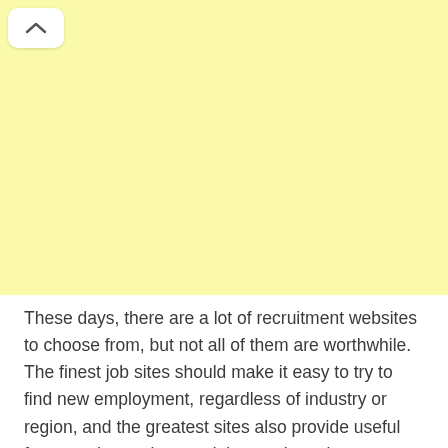[Figure (other): Yellow/cream colored rectangular area taking up the top portion of the page, with a white rounded chevron (up arrow) button in the top-left corner.]
These days, there are a lot of recruitment websites to choose from, but not all of them are worthwhile. The finest job sites should make it easy to try to find new employment, regardless of industry or region, and the greatest sites also provide useful features that make your job search easier.